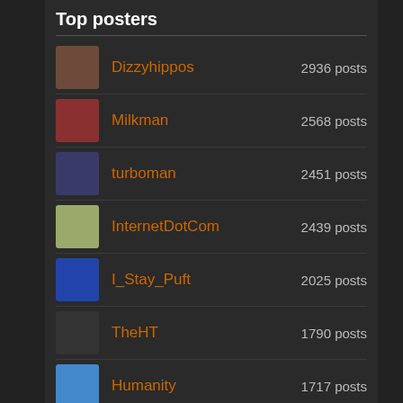Top posters
| Avatar | Username | Post count |
| --- | --- | --- |
|  | Dizzyhippos | 2936 posts |
|  | Milkman | 2568 posts |
|  | turboman | 2451 posts |
|  | InternetDotCom | 2439 posts |
|  | I_Stay_Puft | 2025 posts |
|  | TheHT | 1790 posts |
|  | Humanity | 1717 posts |
|  | musubi | 1701 posts |
|  | Shindig | 1691 posts |
|  | monkeyking1969 | 1671 posts |